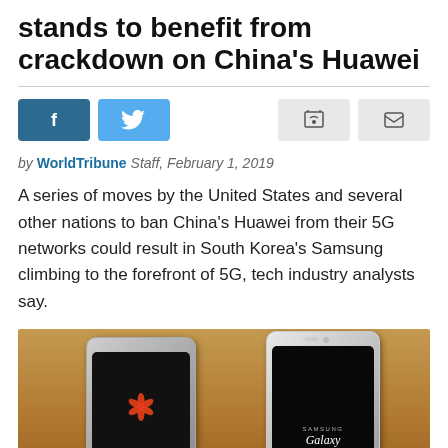stands to benefit from crackdown on China's Huawei
by WorldTribune Staff, February 1, 2019
A series of moves by the United States and several other nations to ban China's Huawei from their 5G networks could result in South Korea's Samsung climbing to the forefront of 5G, tech industry analysts say.
[Figure (photo): Two smartphones side by side — a Huawei phone on the left showing the Huawei logo on screen, and a Samsung Galaxy Note 5 on the right showing the Samsung Galaxy Note5 branding on screen, held over a wooden surface.]